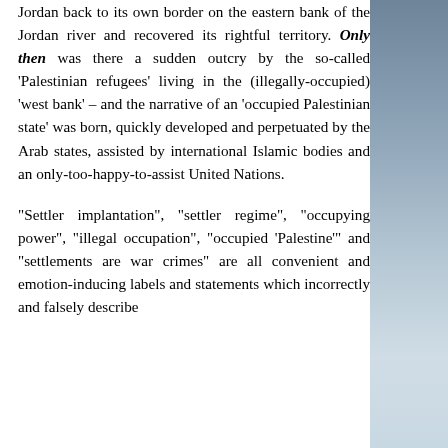Jordan back to its own border on the eastern bank of the Jordan river and recovered its rightful territory. Only then was there a sudden outcry by the so-called 'Palestinian refugees' living in the (illegally-occupied) 'west bank' – and the narrative of an 'occupied Palestinian state' was born, quickly developed and perpetuated by the Arab states, assisted by international Islamic bodies and an only-too-happy-to-assist United Nations.
“Settler implantation”, “settler regime”, “occupying power”, “illegal occupation”, “occupied ‘Palestine’” and “settlements are war crimes” are all convenient and emotion-inducing labels and statements which incorrectly and falsely describe
[Figure (photo): A sky and clouds photograph forming the right-side sidebar of the page, with a gradient from dark blue-grey at the top to lighter grey-white cloud tones below.]